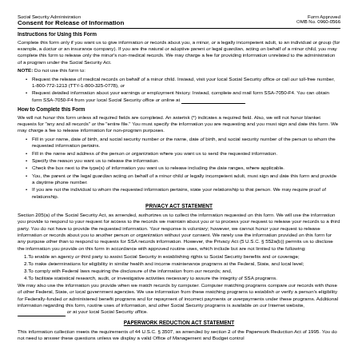Social Security Administration
Consent for Release of Information
Form Approved OMB No. 0960-0566
Instructions for Using this Form
Complete this form only if you want us to give information or records about you, a minor, or a legally incompetent adult, to an individual or group (for example, a doctor or an insurance company). If you are the natural or adoptive parent or legal guardian, acting on behalf of a minor child, you may complete this form to release only the minor's non-medical records. We may charge a fee for providing information unrelated to the administration of a program under the Social Security Act.
NOTE: Do not use this form to:
Request the release of medical records on behalf of a minor child. Instead, visit your local Social Security office or call our toll-free number, 1-800-772-1213 (TTY-1-800-325-0778), or
Request detailed information about your earnings or employment history. Instead, complete and mail form SSA-7050-F4. You can obtain form SSA-7050-F4 from your local Social Security office or online at ___
How to Complete this Form
We will not honor this form unless all required fields are completed. An asterisk (*) indicates a required field. Also, we will not honor blanket requests for "any and all records" or the "entire file." You must specify the information you are requesting and you must sign and date this form. We may charge a fee to release information for non-program purposes.
Fill in your name, date of birth, and social security number or the name, date of birth, and social security number of the person to whom the requested information pertains.
Fill in the name and address of the person or organization where you want us to send the requested information.
Specify the reason you want us to release the information.
Check the box next to the type(s) of information you want us to release including the date ranges, where applicable.
You, the parent or the legal guardian acting on behalf of a minor child or legally incompetent adult, must sign and date this form and provide a daytime phone number.
If you are not the individual to whom the requested information pertains, state your relationship to that person. We may require proof of relationship.
PRIVACY ACT STATEMENT
Section 205(a) of the Social Security Act, as amended, authorizes us to collect the information requested on this form. We will use the information you provide to respond to your request for access to the records we maintain about you or to process your request to release your records to a third party. You do not have to provide the requested information. Your response is voluntary; however, we cannot honor your request to release information or records about you to another person or organization without your consent. We rarely use the information provided on this form for any purpose other than to respond to requests for SSA records information. However, the Privacy Act (5 U.S.C. § 552a(b)) permits us to disclose the information you provide on this form in accordance with approved routine uses, which include but are not limited to the following:
1. To enable an agency or third party to assist Social Security in establishing rights to Social Security benefits and or coverage;
2. To make determinations for eligibility in similar health and income maintenance programs at the Federal, State, and local level;
3. To comply with Federal laws requiring the disclosure of the information from our records; and,
4. To facilitate statistical research, audit, or investigative activities necessary to assure the integrity of SSA programs.
We may also use the information you provide when we match records by computer. Computer matching programs compare our records with those of other Federal, State, or local government agencies. We use information from these matching programs to establish or verify a person's eligibility for Federally-funded or administered benefit programs and for repayment of incorrect payments or overpayments under these programs. Additional information regarding this form, routine uses of information, and other Social Security programs is available on our Internet website, ___ or at your local Social Security office.
PAPERWORK REDUCTION ACT STATEMENT
This information collection meets the requirements of 44 U.S.C. § 3507, as amended by section 2 of the Paperwork Reduction Act of 1995. You do not need to answer these questions unless we display a valid Office of Management and Budget control